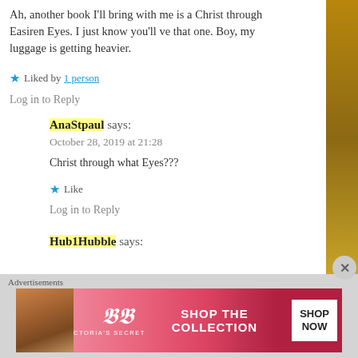Ah, another book I'll bring with me is a Christ through Easiren Eyes. I just know you'll ve that one. Boy, my luggage is getting heavier.
★ Liked by 1 person
Log in to Reply
AnaStpaul says:
October 28, 2019 at 21:28
Christ through what Eyes???
★ Like
Log in to Reply
Hub1Hubble says:
Advertisements
[Figure (other): Victoria's Secret advertisement banner with a woman and pink background, text: SHOP THE COLLECTION, with a SHOP NOW button]